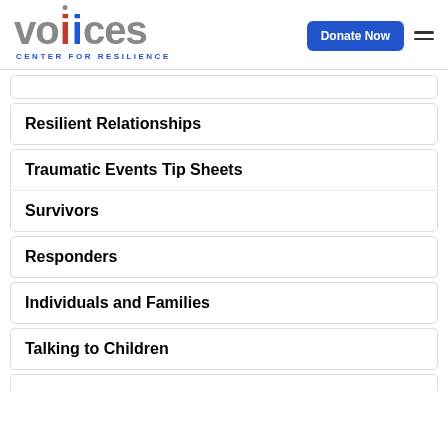[Figure (logo): Voices Center for Resilience logo with stylized 'voices' text in gray with red and blue vertical bars, and 'CENTER FOR RESILIENCE' subtitle in blue]
Resilient Relationships
Traumatic Events Tip Sheets
Survivors
Responders
Individuals and Families
Talking to Children